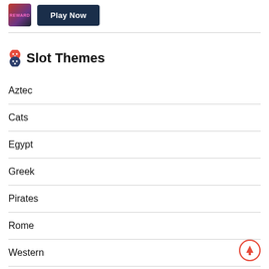[Figure (screenshot): Game thumbnail showing a red/purple reward graphic, with a dark navy Play Now button beside it]
🎰 Slot Themes
Aztec
Cats
Egypt
Greek
Pirates
Rome
Western